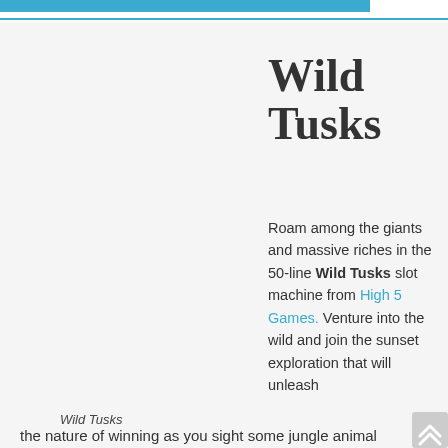Wild Tusks
[Figure (illustration): Wild Tusks slot machine game screenshot or promotional image showing jungle/safari theme]
Wild Tusks
Roam among the giants and massive riches in the 50-line Wild Tusks slot machine from High 5 Games. Venture into the wild and join the sunset exploration that will unleash the nature of winning as you sight some jungle animal favourites. Trust your instincts and you may just find yourself